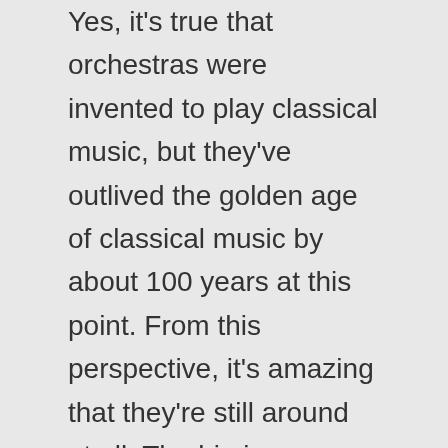Yes, it's true that orchestras were invented to play classical music, but they've outlived the golden age of classical music by about 100 years at this point. From this perspective, it's amazing that they're still around at all. The big jazz bands, after all, largely stopped making money at the end of the Swing Era, back in the early 1940s. This brings us to the big question: why don't orchestras play the music that the public consumes the most of? Why don't they play more pop music?
I teach a small student ensemble at a local high school, and even the classically trained violinists beam with delight when I